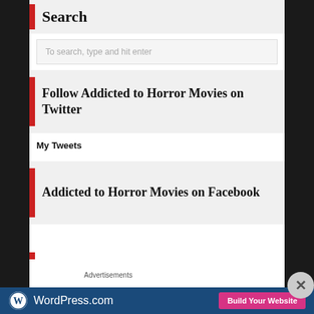Search
To search, type and hit enter
Follow Addicted to Horror Movies on Twitter
My Tweets
Addicted to Horror Movies on Facebook
Advertisements
[Figure (other): WordPress.com advertisement banner with logo and 'Build Your Website' button]